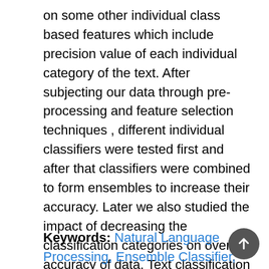on some other individual class based features which include precision value of each individual category of the text. After subjecting our data through pre-processing and feature selection techniques , different individual classifiers were tested first and after that classifiers were combined to form ensembles to increase their accuracy. Later we also studied the impact of decreasing the classification categories on over all accuracy of data. Text classification is highly used in sentiment analysis on social media sites such as twitter for realizing people's opinions about any cause or it is also used to analyze customer's reviews about certain products or services. Opinion mining is a vital task in data mining and text categorization is a back-bone to opinion mining.
Keywords: Natural Language Processing, Ensemble Classifier, Bagging Classifier, AdaBoost